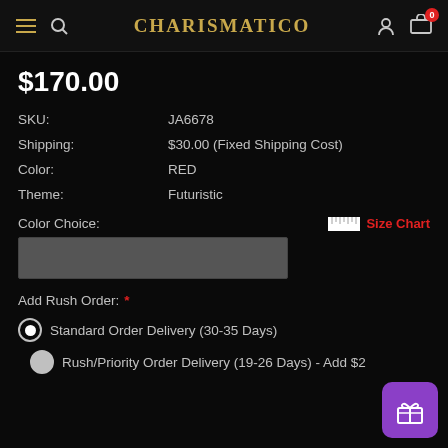CHARISMATICO
$170.00
SKU: JA6678
Shipping: $30.00 (Fixed Shipping Cost)
Color: RED
Theme: Futuristic
Color Choice:
Size Chart
Add Rush Order: *
Standard Order Delivery (30-35 Days)
Rush/Priority Order Delivery (19-26 Days) - Add $2